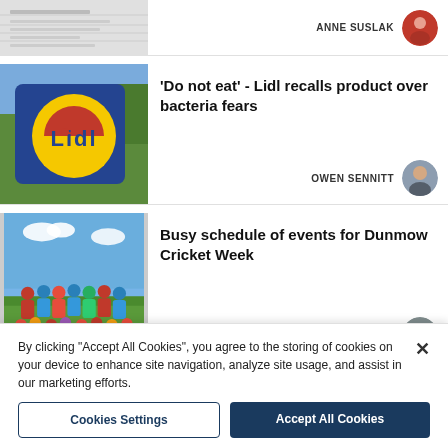[Figure (screenshot): Partial article card at top showing a form/document thumbnail and author ANNE SUSLAK]
[Figure (screenshot): Lidl store sign article thumbnail]
'Do not eat' - Lidl recalls product over bacteria fears
OWEN SENNITT
[Figure (screenshot): Cricket team group photo thumbnail]
Busy schedule of events for Dunmow Cricket Week
LEE POWER
By clicking "Accept All Cookies", you agree to the storing of cookies on your device to enhance site navigation, analyze site usage, and assist in our marketing efforts.
Cookies Settings
Accept All Cookies